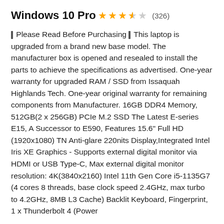Windows 10 Pro
(326) rating with 3.5 stars
| Please Read Before Purchasing | This laptop is upgraded from a brand new base model. The manufacturer box is opened and resealed to install the parts to achieve the specifications as advertised. One-year warranty for upgraded RAM / SSD from Issaquah Highlands Tech. One-year original warranty for remaining components from Manufacturer. 16GB DDR4 Memory, 512GB(2 x 256GB) PCIe M.2 SSD The Latest E-series E15, A Successor to E590, Features 15.6" Full HD (1920x1080) TN Anti-glare 220nits Display,Integrated Intel Iris XE Graphics - Supports external digital monitor via HDMI or USB Type-C, Max external digital monitor resolution: 4K(3840x2160) Intel 11th Gen Core i5-1135G7 (4 cores 8 threads, base clock speed 2.4GHz, max turbo to 4.2GHz, 8MB L3 Cache) Backlit Keyboard, Fingerprint, 1 x Thunderbolt 4 (Power